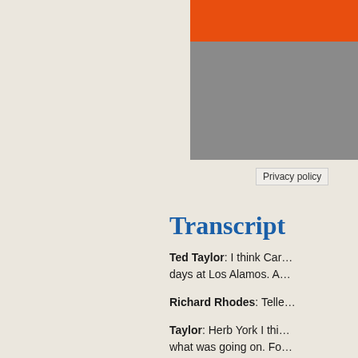[Figure (other): Orange and gray decorative header bars in right panel]
Privacy policy
Transcript
Ted Taylor: I think Car… days at Los Alamos. A…
Richard Rhodes: Telle…
Taylor: Herb York I thi… what was going on. Fo… would have thought of…
Rhodes: He was at Liv…
Taylor: He was at Live…